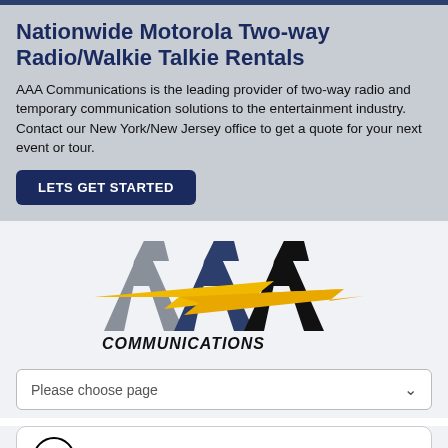Nationwide Motorola Two-way Radio/Walkie Talkie Rentals
AAA Communications is the leading provider of two-way radio and temporary communication solutions to the entertainment industry. Contact our New York/New Jersey office to get a quote for your next event or tour.
LETS GET STARTED
[Figure (logo): AAA Communications logo with three stylized letter A shapes in grey, dark blue, and black, with yellow lightning bolts across them, and 'COMMUNICATIONS' text below in bold black italic]
Please choose page
[Figure (logo): Motorola Solutions logo with Motorola batwing symbol and bold MOTOROLA SOLUTIONS text]